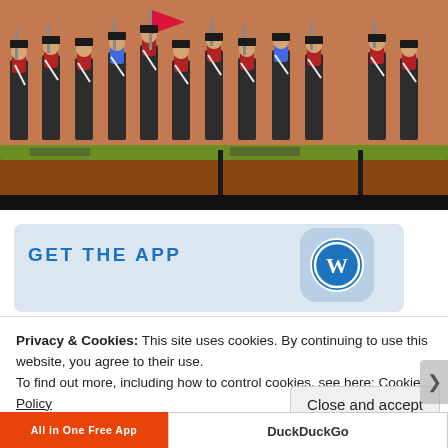[Figure (photo): Photo of painted miniature soldiers/figurines in military uniforms marching in formation, holding rifles and flags, on a diorama base with grass and red-brown earth.]
GET THE APP
[Figure (logo): WordPress logo — blue circle with W letter, rounded square background]
Privacy & Cookies: This site uses cookies. By continuing to use this website, you agree to their use.
To find out more, including how to control cookies, see here: Cookie Policy
Close and accept
All in One Free App
DuckDuckGo